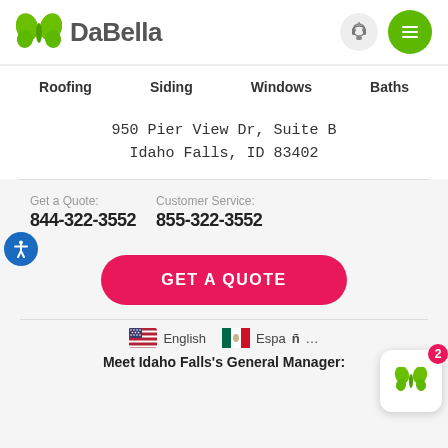[Figure (logo): DaBella company logo with green butterfly icon and gray DaBella text, plus headphone and hamburger menu icons]
Roofing
Siding
Windows
Baths
950 Pier View Dr, Suite B
Idaho Falls, ID 83402
Get a Quote: 844-322-3552
Customer Service: 855-322-3552
GET A QUOTE
English  Español
Meet Idaho Falls's General Manager: